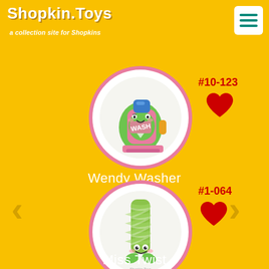Shopkin.Toys
a collection site for Shopkins
#10-123
[Figure (illustration): Wendy Washer Shopkin character - a cute laundry detergent bottle with a face, pink and green coloring, shown in a circular pink-bordered frame]
Wendy Washer
#1-064
[Figure (illustration): Miss Twist Shopkin character - a cute green twisted candy/straw character with a face, shown in a circular pink-bordered frame]
Miss Twist